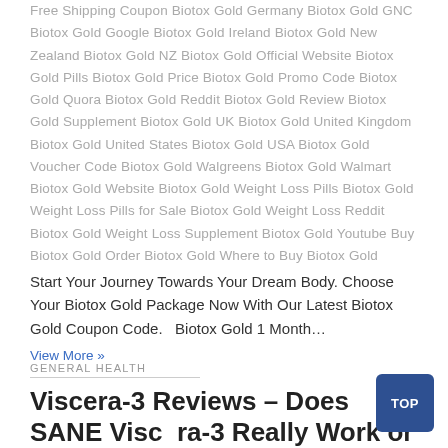Free Shipping Coupon  Biotox Gold Germany  Biotox Gold GNC  Biotox Gold Google  Biotox Gold Ireland  Biotox Gold New Zealand  Biotox Gold NZ  Biotox Gold Official Website  Biotox Gold Pills  Biotox Gold Price  Biotox Gold Promo Code  Biotox Gold Quora  Biotox Gold Reddit  Biotox Gold Review  Biotox Gold Supplement  Biotox Gold UK  Biotox Gold United Kingdom  Biotox Gold United States  Biotox Gold USA  Biotox Gold Voucher Code  Biotox Gold Walgreens  Biotox Gold Walmart  Biotox Gold Website  Biotox Gold Weight Loss Pills  Biotox Gold Weight Loss Pills for Sale  Biotox Gold Weight Loss Reddit  Biotox Gold Weight Loss Supplement  Biotox Gold Youtube  Buy Biotox Gold  Order Biotox Gold  Where to Buy Biotox Gold
Start Your Journey Towards Your Dream Body. Choose Your Biotox Gold Package Now With Our Latest Biotox Gold Coupon Code.   Biotox Gold 1 Month...
View More »
GENERAL HEALTH
Viscera-3 Reviews – Does SANE Viscera-3 Really Work or Scam?